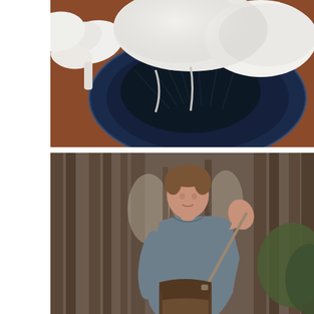[Figure (photo): Close-up overhead photo of white oyster mushrooms arranged on a dark navy blue decorative plate, against a reddish-brown surface. The mushrooms have large, pale white caps with dark gills visible underneath.]
[Figure (photo): Portrait photo of a young man with short brown hair standing in a pine forest. He is wearing a grey-blue t-shirt and carrying a brown leather/waxed canvas crossbody bag over his shoulder. He is looking back over his shoulder toward the camera. The background shows tall pine trees with soft bokeh light filtering through.]